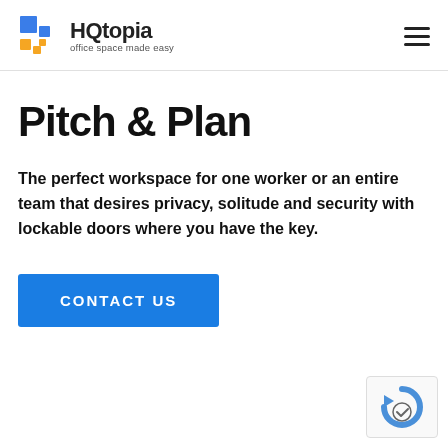HQtopia — office space made easy
Pitch & Plan
The perfect workspace for one worker or an entire team that desires privacy, solitude and security with lockable doors where you have the key.
[Figure (other): CONTACT US button — blue rectangular call-to-action button]
[Figure (other): reCAPTCHA badge in bottom-right corner]